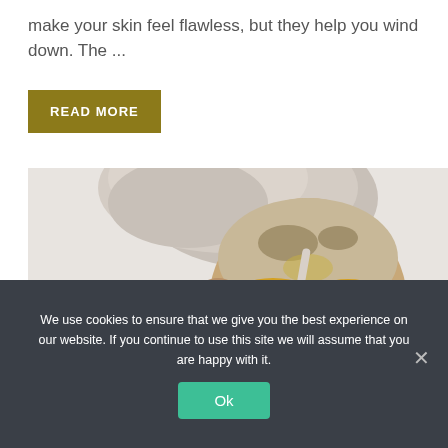make your skin feel flawless, but they help you wind down. The ...
READ MORE
[Figure (photo): Woman with a face mask applied — towel wrapped around head, closed eyes, yellow and oatmeal-colored face mask covering her face.]
We use cookies to ensure that we give you the best experience on our website. If you continue to use this site we will assume that you are happy with it.
Ok